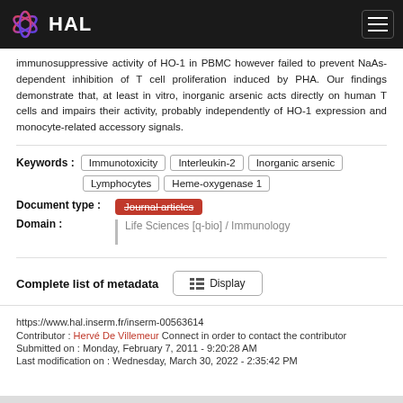HAL
immunosuppressive activity of HO-1 in PBMC however failed to prevent NaAs-dependent inhibition of T cell proliferation induced by PHA. Our findings demonstrate that, at least in vitro, inorganic arsenic acts directly on human T cells and impairs their activity, probably independently of HO-1 expression and monocyte-related accessory signals.
Keywords : Immunotoxicity | Interleukin-2 | Inorganic arsenic | Lymphocytes | Heme-oxygenase 1
Document type : Journal articles
Domain : Life Sciences [q-bio] / Immunology
Complete list of metadata  Display
https://www.hal.inserm.fr/inserm-00563614
Contributor : Hervé De Villemeur Connect in order to contact the contributor
Submitted on : Monday, February 7, 2011 - 9:20:28 AM
Last modification on : Wednesday, March 30, 2022 - 2:35:42 PM